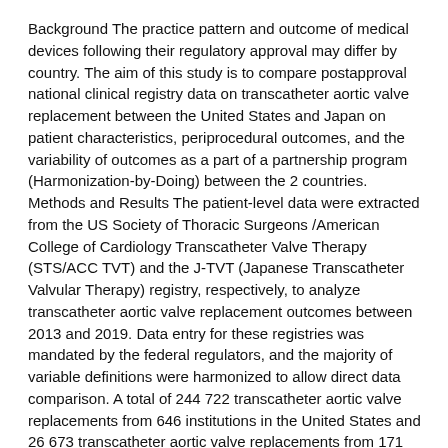Background The practice pattern and outcome of medical devices following their regulatory approval may differ by country. The aim of this study is to compare postapproval national clinical registry data on transcatheter aortic valve replacement between the United States and Japan on patient characteristics, periprocedural outcomes, and the variability of outcomes as a part of a partnership program (Harmonization-by-Doing) between the 2 countries. Methods and Results The patient-level data were extracted from the US Society of Thoracic Surgeons /American College of Cardiology Transcatheter Valve Therapy (STS/ACC TVT) and the J-TVT (Japanese Transcatheter Valvular Therapy) registry, respectively, to analyze transcatheter aortic valve replacement outcomes between 2013 and 2019. Data entry for these registries was mandated by the federal regulators, and the majority of variable definitions were harmonized to allow direct data comparison. A total of 244 722 transcatheter aortic valve replacements from 646 institutions in the United States and 26 673 transcatheter aortic valve replacements from 171 institutions in Japan were analyzed. Median volume per site was 65 (interquartile range, 45-97) in the United States and 28 (interquartile range, 19-41) in Japan. Overall, patients in J-TVT were older (United States: mean-age, 80.138.7 versus Japan: 84.435.2; <0.001), were more frequently women (45.9% versus